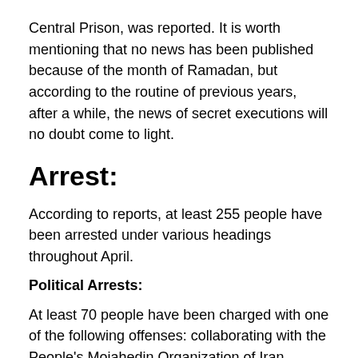Central Prison, was reported. It is worth mentioning that no news has been published because of the month of Ramadan, but according to the routine of previous years, after a while, the news of secret executions will no doubt come to light.
Arrest:
According to reports, at least 255 people have been arrested under various headings throughout April.
Political Arrests:
At least 70 people have been charged with one of the following offenses: collaborating with the People's Mojahedin Organization of Iran (PMOI/MEK); propaganda against the regime; carrying and possessing weapons; igniting police cars, and claims of being in contact with foreign intelligence